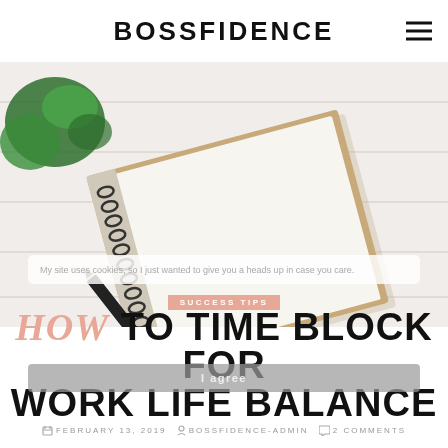BOSSFIDENCE
[Figure (photo): Flat lay photo of an open spiral notebook with a black pencil resting on it, next to a green plant, on a white wooden surface.]
SUCCESS TIPS
HOW TO TIME BLOCK FOR WORK LIFE BALANCE
My site uses cookies, so I just wanted to give you a heads up in case you care.
I agree
FEBRUARY 13, 2019   BOSSFIDENCE-ADMIN   2 COMMENTS